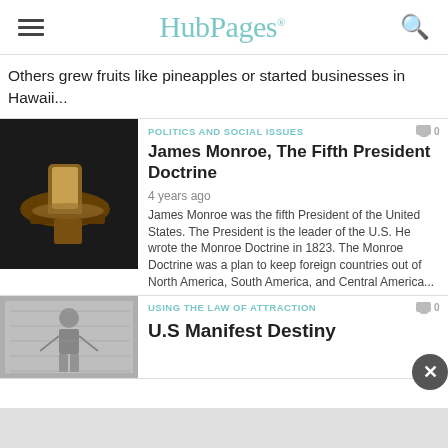HubPages
Others grew fruits like pineapples or started businesses in Hawaii...
[Figure (photo): A wooden judge's gavel on a dark surface]
POLITICS AND SOCIAL ISSUES
James Monroe, The Fifth President Doctrine
4 years ago
James Monroe was the fifth President of the United States. The President is the leader of the U.S. He wrote the Monroe Doctrine in 1823. The Monroe Doctrine was a plan to keep foreign countries out of North America, South America, and Central America...
[Figure (photo): A historical sketch/engraving in black and white]
USING THE LAW OF ATTRACTION
U.S Manifest Destiny